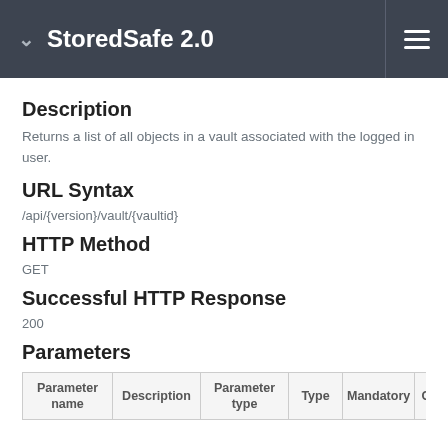StoredSafe 2.0
Description
Returns a list of all objects in a vault associated with the logged in user.
URL Syntax
/api/{version}/vault/{vaultid}
HTTP Method
GET
Successful HTTP Response
200
Parameters
| Parameter name | Description | Parameter type | Type | Mandatory | Comme |
| --- | --- | --- | --- | --- | --- |